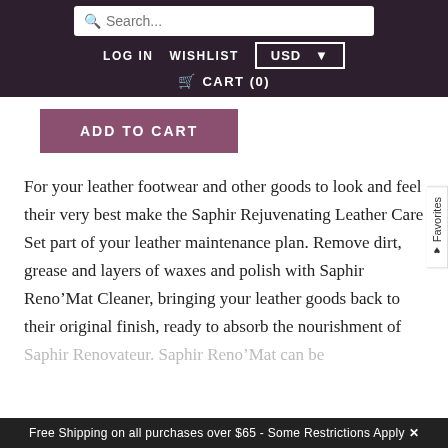Search... LOG IN  WISHLIST  USD  CART (0)
ADD TO CART
For your leather footwear and other goods to look and feel their very best make the Saphir Rejuvenating Leather Care Set part of your leather maintenance plan. Remove dirt, grease and layers of waxes and polish with Saphir Reno'Mat Cleaner, bringing your leather goods back to their original finish, ready to absorb the nourishment of Saphir Renovateur. Saphir Reno'Mat can be
Free Shipping on all purchases over $65 - Some Restrictions Apply ✕